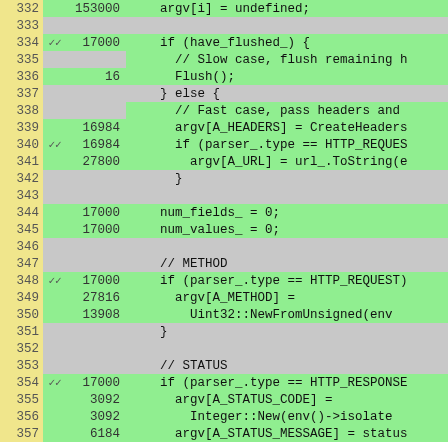[Figure (screenshot): Code coverage viewer showing C++ source lines 332-357 with line numbers (yellow column), checkmark/coverage markers (gray column), execution counts (gray column), and source code (green=covered, gray=uncovered). Lines include: argv[i]=undefined, if(have_flushed_), Flush(), else, argv[A_HEADERS]=CreateHeaders, if(parser_.type==HTTP_REQUEST), argv[A_URL]=url_.ToString, num_fields_=0, num_values_=0, METHOD comment, if(parser_.type==HTTP_REQUEST), argv[A_METHOD]=, Uint32::NewFromUnsigned, STATUS comment, if(parser_.type==HTTP_RESPONSE), argv[A_STATUS_CODE]=, Integer::New(env()->isolate, argv[A_STATUS_MESSAGE]=status]